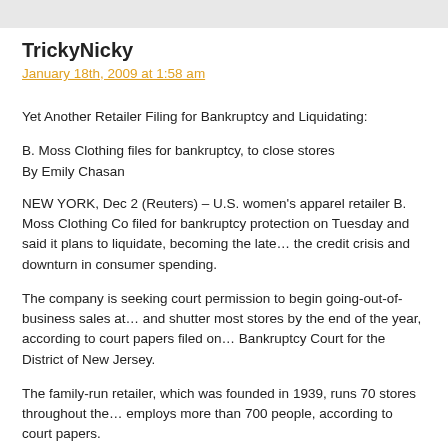TrickyNicky
January 18th, 2009 at 1:58 am
Yet Another Retailer Filing for Bankruptcy and Liquidating:
B. Moss Clothing files for bankruptcy, to close stores
By Emily Chasan
NEW YORK, Dec 2 (Reuters) – U.S. women's apparel retailer B. Moss Clothing Co filed for bankruptcy protection on Tuesday and said it plans to liquidate, becoming the latest casualty of the credit crisis and downturn in consumer spending.
The company is seeking court permission to begin going-out-of-business sales at its stores and shutter most stores by the end of the year, according to court papers filed on Tuesday in U.S. Bankruptcy Court for the District of New Jersey.
The family-run retailer, which was founded in 1939, runs 70 stores throughout the region and employs more than 700 people, according to court papers.
B.Moss had tried to sell itself, but a potential purchaser told the company in November it lacked financing to complete the deal due to a lack of availability of credit, according to court papers.
The company also said it had suffered from sales declines and a failed attempt to